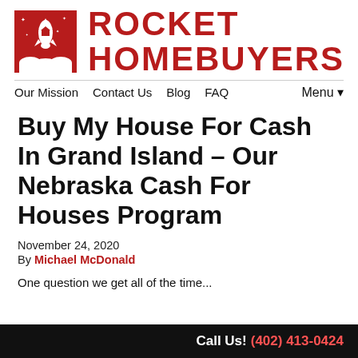[Figure (logo): Rocket Homebuyers logo: red square with rocket/house illustration on left, bold red text ROCKET HOMEBUYERS on right]
Our Mission  Contact Us  Blog  FAQ  Menu▼
Buy My House For Cash In Grand Island – Our Nebraska Cash For Houses Program
November 24, 2020
By Michael McDonald
One question we get all of the time...
Call Us! (402) 413-0424